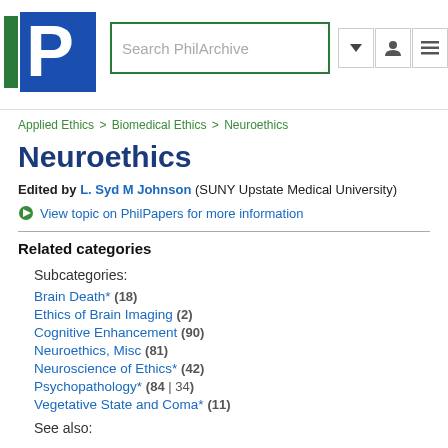[Figure (logo): PhilArchive logo — stylized P in blue and green]
Search PhilArchive
breadcrumb navigation: Applied Ethics > Biomedical Ethics > Neuroethics
Neuroethics
Edited by L. Syd M Johnson (SUNY Upstate Medical University)
View topic on PhilPapers for more information
Related categories
Subcategories:
Brain Death* (18)
Ethics of Brain Imaging (2)
Cognitive Enhancement (90)
Neuroethics, Misc (81)
Neuroscience of Ethics* (42)
Psychopathology* (84 | 34)
Vegetative State and Coma* (11)
See also: